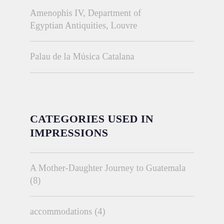Amenophis IV, Department of Egyptian Antiquities, Louvre
Palau de la Música Catalana
CATEGORIES USED IN IMPRESSIONS
A Mother-Daughter Journey to Guatemala (8)
accommodations (4)